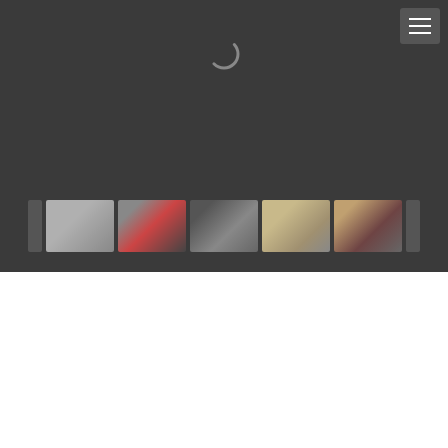[Figure (photo): Dark photo viewer area with loading spinner and hamburger menu button at top right, showing 5 RV thumbnail photos in a filmstrip at the bottom]
$ Pricing
$390 / night  $2730 / week  $11700 / month